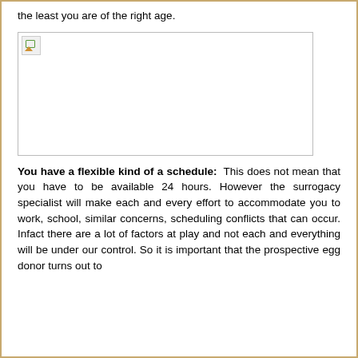the least you are of the right age.
[Figure (photo): Broken image placeholder (image failed to load)]
You have a flexible kind of a schedule: This does not mean that you have to be available 24 hours. However the surrogacy specialist will make each and every effort to accommodate you to work, school, similar concerns, scheduling conflicts that can occur. Infact there are a lot of factors at play and not each and everything will be under our control. So it is important that the prospective egg donor turns out to